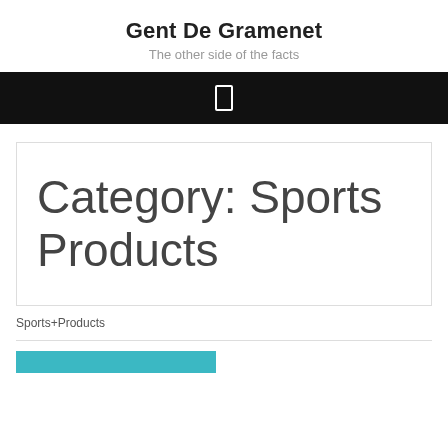Gent De Gramenet
The other side of the facts
[Figure (other): Black navigation bar with a small white rectangle icon (hamburger/menu icon)]
Category: Sports Products
Sports+Products
[Figure (other): Teal/cyan colored bar at the bottom of the page, partial view]